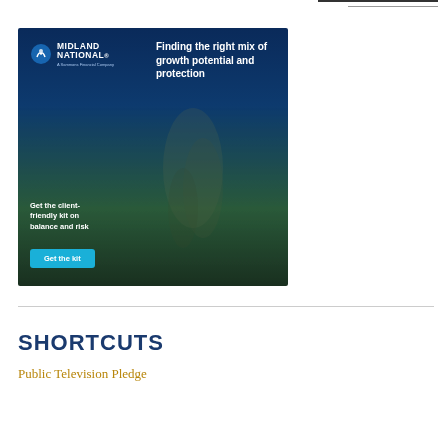[Figure (illustration): Midland National advertisement: dark blue and green background with person outdoors, logo top left, tagline 'Finding the right mix of growth potential and protection', bottom text 'Get the client-friendly kit on balance and risk', and a blue 'Get the kit' button]
SHORTCUTS
Public Television Pledge